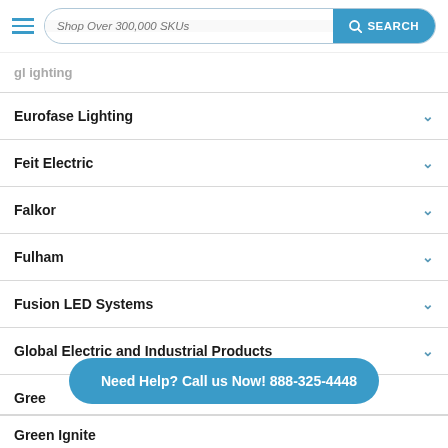Shop Over 300,000 SKUs | SEARCH
Eurofase Lighting
Feit Electric
Falkor
Fulham
Fusion LED Systems
Global Electric and Industrial Products
Gree
Green Ignite
Need Help? Call us Now! 888-325-4448